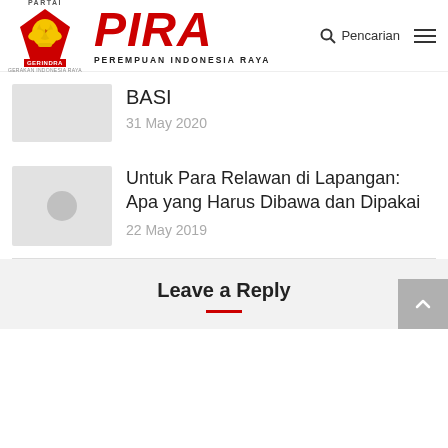[Figure (logo): PIRA - Perempuan Indonesia Raya / Gerindra party logo with Partai text above, red pentagon with golden eagle, and PIRA in large red italic text with PEREMPUAN INDONESIA RAYA subtitle]
BASI
31 May 2020
Untuk Para Relawan di Lapangan: Apa yang Harus Dibawa dan Dipakai
22 May 2019
Leave a Reply